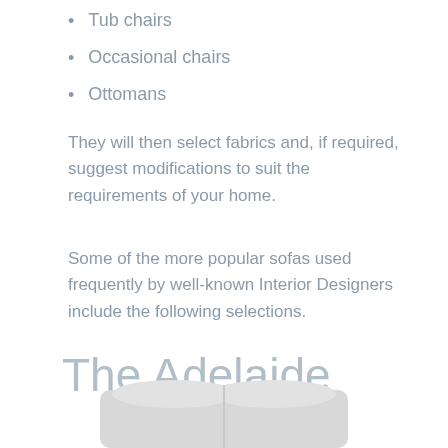Tub chairs
Occasional chairs
Ottomans
They will then select fabrics and, if required, suggest modifications to suit the requirements of your home.
Some of the more popular sofas used frequently by well-known Interior Designers include the following selections.
The Adelaide
[Figure (photo): Bottom portion of a light grey upholstered sofa with rounded cushions, cropped at bottom of page]